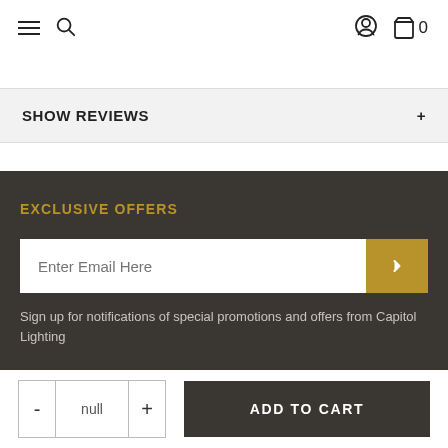Navigation bar with hamburger menu, search icon, user icon, and cart (0)
SHOW REVIEWS
EXCLUSIVE OFFERS
Enter Email Here
Sign up for notifications of special promotions and offers from Capitol Lighting
- null + ADD TO CART